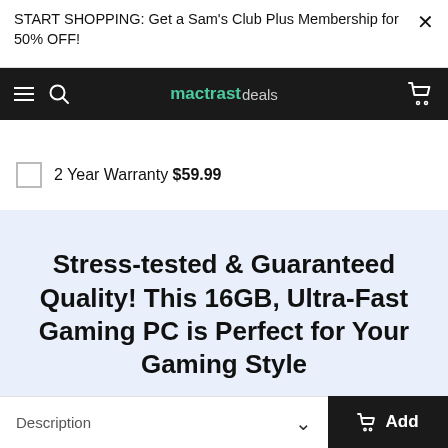START SHOPPING: Get a Sam's Club Plus Membership for 50% OFF!
mactrast deals
2 Year Warranty $59.99
Stress-tested & Guaranteed Quality! This 16GB, Ultra-Fast Gaming PC is Perfect for Your Gaming Style
Description
Description